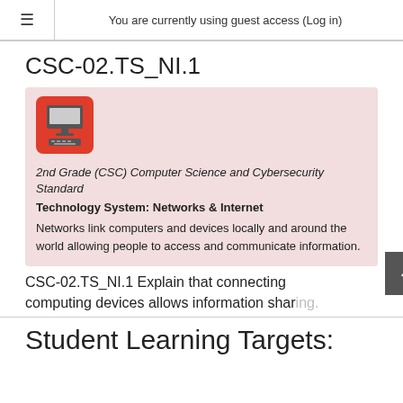You are currently using guest access (Log in)
CSC-02.TS_NI.1
[Figure (illustration): Red rounded square icon with a computer/monitor and keyboard illustration in dark gray on red background]
2nd Grade (CSC) Computer Science and Cybersecurity Standard
Technology System: Networks & Internet
Networks link computers and devices locally and around the world allowing people to access and communicate information.
CSC-02.TS_NI.1 Explain that connecting computing devices allows information sharing.
Student Learning Targets: